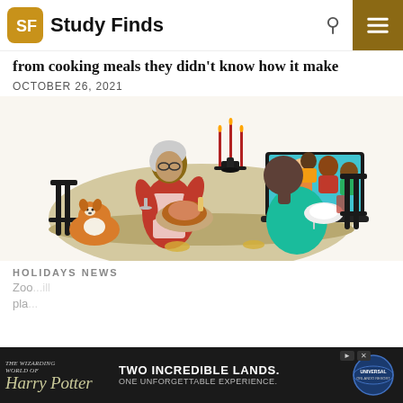Study Finds
from cooking meals they didn't know how it make
OCTOBER 26, 2021
[Figure (illustration): Illustrated scene of an elderly couple at a holiday dinner table. An older woman in a red dress serves a roasted turkey while an older man in a teal shirt sits across. A laptop on the table shows a video call with a family of four. A corgi dog sits beneath the table. Candelabra with red candles and various dishes on the table.]
HOLIDAYS NEWS
Zoo...ill pla...
[Figure (other): Advertisement banner for The Wizarding World of Harry Potter at Universal Orlando Resort. Text: TWO INCREDIBLE LANDS. ONE UNFORGETTABLE EXPERIENCE.]